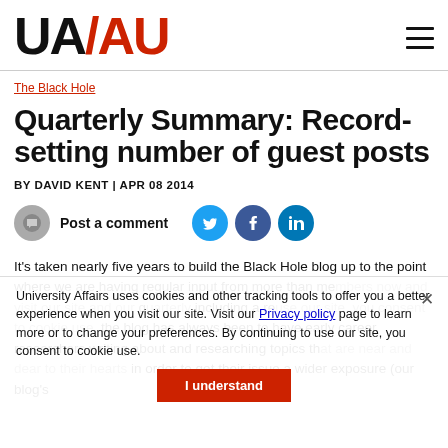UA/AU logo and hamburger menu
The Black Hole
Quarterly Summary: Record-setting number of guest posts
BY DAVID KENT | APR 08 2014
Post a comment
It's taken nearly five years to build the Black Hole blog up to the point where we are having regular input from more than members now and visit our site and our quarterly including a reuse our site, you consent to cookie use. the blog has always been to have early career researchers writing about and researching topics that are near and dear to their hearts in order to get their issue a wider exposure (our blog's
University Affairs uses cookies and other tracking tools to offer you a better experience when you visit our site. Visit our Privacy policy page to learn more or to change your preferences. By continuing to use our site, you consent to cookie use.